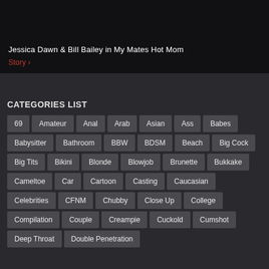[Figure (screenshot): Dark video banner area showing video title and story link]
Jessica Dawn & Bill Bailey in My Mates Hot Mom
Story >
CATEGORIES LIST
69
Amateur
Anal
Arab
Asian
Ass
Babes
Babysitter
Bathroom
BBW
BDSM
Beach
Big Cock
Big Tits
Bikini
Blonde
Blowjob
Brunette
Bukkake
Cameltoe
Car
Cartoon
Casting
Caucasian
Celebrities
CFNM
Chubby
Close Up
College
Compilation
Couple
Creampie
Cuckold
Cumshot
Deep Throat
Double Penetration